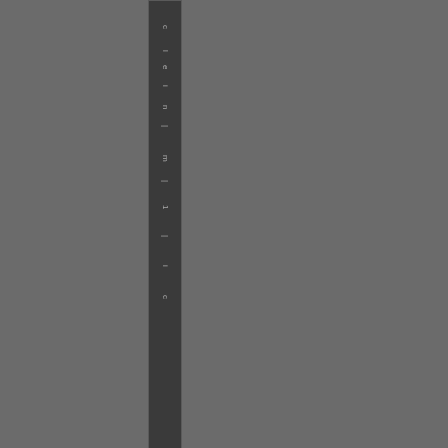[Figure (screenshot): Left sidebar panel with vertical text, dark background]
<< Comment #36 @ 10:25 CDT, 7 October 2020 >>
(Link, Reply) By [German flag] cloned
Also want to give my impressi